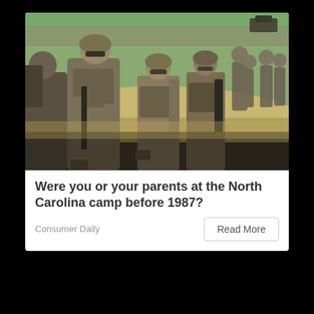[Figure (photo): A group of US Marines in desert camouflage uniforms and combat gear walking forward, carrying weapons and backpacks. Sandy terrain and sparse vegetation visible in background.]
Were you or your parents at the North Carolina camp before 1987?
Consumer Daily
Read More